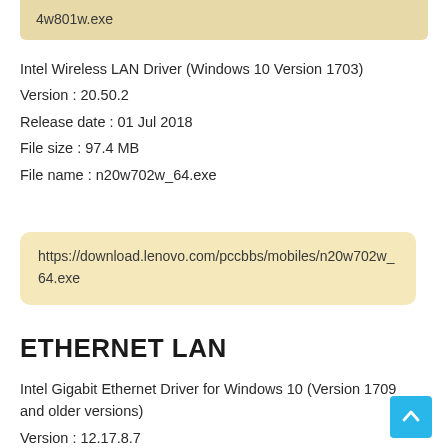4w801w.exe
Intel Wireless LAN Driver (Windows 10 Version 1703)
Version : 20.50.2
Release date : 01 Jul 2018
File size : 97.4 MB
File name : n20w702w_64.exe
https://download.lenovo.com/pccbbs/mobiles/n20w702w_64.exe
ETHERNET LAN
Intel Gigabit Ethernet Driver for Windows 10 (Version 1709 and older versions)
Version : 12.17.8.7